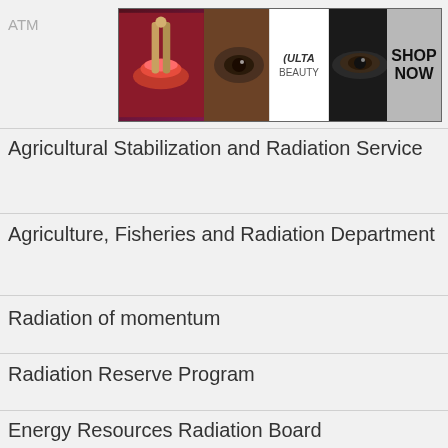ATM
[Figure (photo): Ulta Beauty advertisement banner with makeup/cosmetics imagery and SHOP NOW call to action]
Agricultural Stabilization and Radiation Service
Agriculture, Fisheries and Radiation Department
Radiation of momentum
Radiation Reserve Program
Energy Resources Radiation Board
Habit...
Medi...
[Figure (photo): Advertisement overlay: '37 ITEMS PEOPLE LOVE TO PURCHASE ON AMAZON' with food/kitchen imagery and a '22' badge, with CLOSE button and X button]